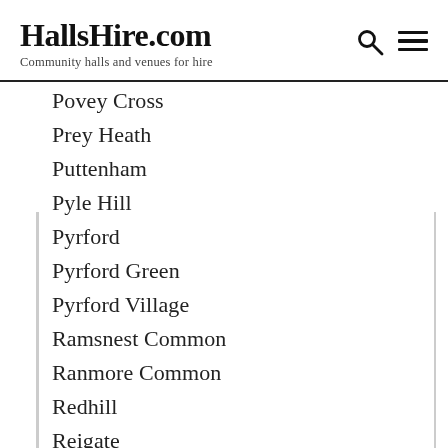HallsHire.com — Community halls and venues for hire
Povey Cross
Prey Heath
Puttenham
Pyle Hill
Pyrford
Pyrford Green
Pyrford Village
Ramsnest Common
Ranmore Common
Redhill
Reigate
Reigate Heath
Ridge Green
Ridgway
Ripley
Rose Hill